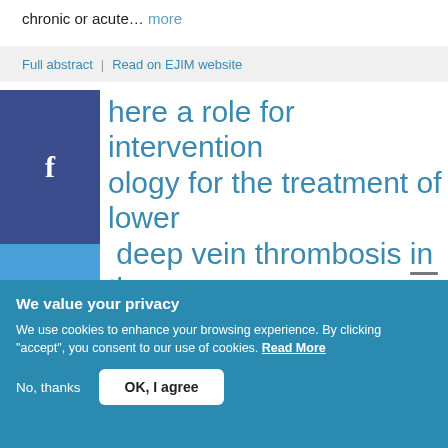chronic or acute… more
Full abstract | Read on EJIM website
Is there a role for intervention radiology for the treatment of lower extremity deep vein thrombosis in the era of direct oral anticoagulants? A comprehensive review
We value your privacy
We use cookies to enhance your browsing experience. By clicking "accept", you consent to our use of cookies. Read More
No, thanks   OK, I agree